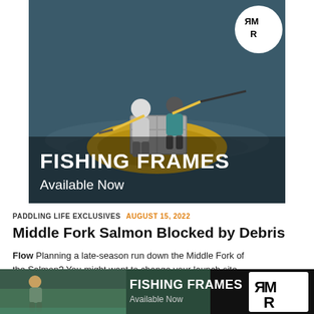[Figure (photo): Advertisement banner showing two people on a yellow inflatable raft on water, with RMR logo in white circle top right, text 'FISHING FRAMES Available Now' overlaid at bottom]
PADDLING LIFE EXCLUSIVES   AUGUST 15, 2022
Middle Fork Salmon Blocked by Debris Flow
Flow Planning a late-season run down the Middle Fork of the Salmon? You might want to change your launch site
· Advertisement ·
[Figure (photo): Bottom advertisement banner showing a person fishing in water with 'FISHING FRAMES Available Now' text and RMR logo on right]